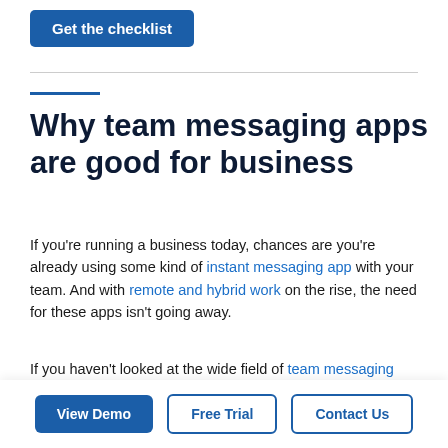[Figure (other): Button: 'Get the checklist' in white text on teal/blue background]
Why team messaging apps are good for business
If you’re running a business today, chances are you’re already using some kind of instant messaging app with your team. And with remote and hybrid work on the rise, the need for these apps isn’t going away.
If you haven’t looked at the wide field of team messaging apps recently, it’s time to check out how much they can do now to keep your team on track
[Figure (other): Bottom CTA bar with three buttons: 'View Demo' (filled blue), 'Free Trial' (outlined), 'Contact Us' (outlined)]